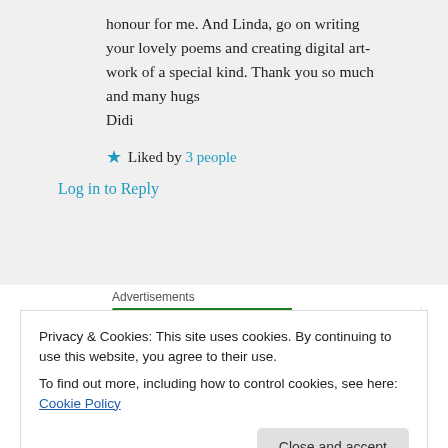honour for me. And Linda, go on writing your lovely poems and creating digital artwork of a special kind. Thank you so much and many hugs
Didi
★ Liked by 3 people
Log in to Reply
Advertisements
[Figure (logo): Jetpack advertisement banner with logo on green background and 'Back up your site' button]
Privacy & Cookies: This site uses cookies. By continuing to use this website, you agree to their use.
To find out more, including how to control cookies, see here: Cookie Policy
Close and accept
Halo, salam kenal. Suka sekali membaca